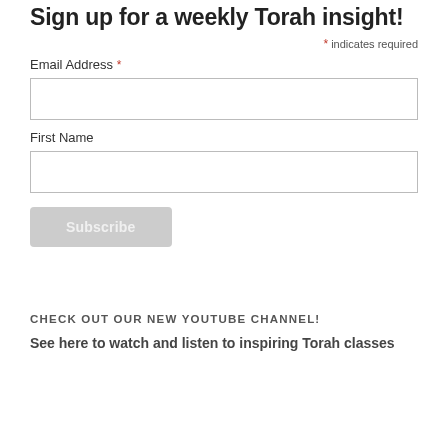Sign up for a weekly Torah insight!
* indicates required
Email Address *
First Name
Subscribe
CHECK OUT OUR NEW YOUTUBE CHANNEL!
See here to watch and listen to inspiring Torah classes